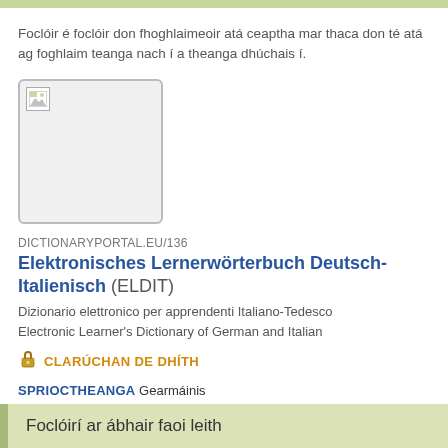Foclóir é foclóir don fhoghlaimeoir atá ceaptha mar thaca don té atá ag foghlaim teanga nach í a theanga dhúchais í.
[Figure (other): Broken image placeholder in a rounded rectangle box]
DICTIONARYPORTAL.EU/136
Elektronisches Lernerwörterbuch Deutsch-Italienisch (ELDIT)
Dizionario elettronico per apprendenti Italiano-Tedesco
Electronic Learner's Dictionary of German and Italian
CLARÚCHAN DE DHÍTH
SPRIOCTHEANGA Gearmáinis
MEITEATHEANGA Iodáilis
SEANRA Foclóirí don fhoghlaimeoir
http://eldit.eurac.edu/
Foclóirí ar ábhair faoi leith